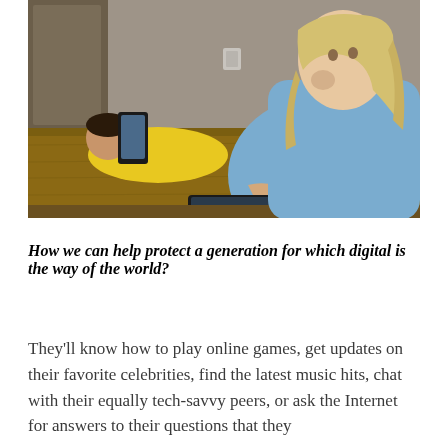[Figure (photo): Two children using digital devices indoors. In the foreground, a girl with long blonde hair wearing a light blue sweater leans on a table pointing at a tablet. In the background, a boy in a yellow hoodie lies on the floor looking at a smartphone.]
How we can help protect a generation for which digital is the way of the world?
They'll know how to play online games, get updates on their favorite celebrities, find the latest music hits, chat with their equally tech-savvy peers, or ask the Internet for answers to their questions that they